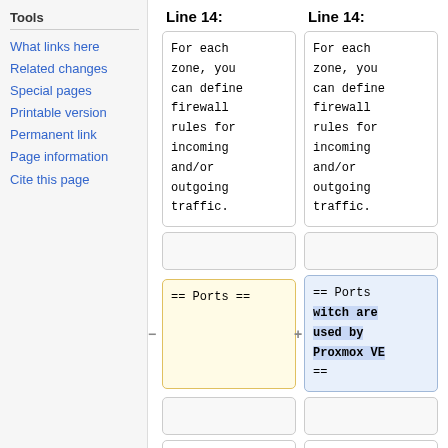Tools
What links here
Related changes
Special pages
Printable version
Permanent link
Page information
Cite this page
Line 14: (left column header)
Line 14: (right column header)
For each zone, you can define firewall rules for incoming and/or outgoing traffic.
For each zone, you can define firewall rules for incoming and/or outgoing traffic.
== Ports ==
== Ports witch are used by Proxmox VE ==
[[Ports]]
[[Ports]]